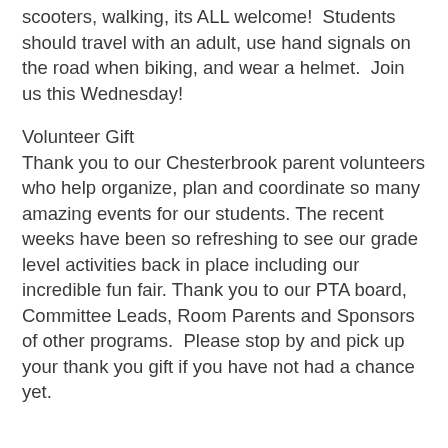scooters, walking, its ALL welcome!  Students should travel with an adult, use hand signals on the road when biking, and wear a helmet.  Join us this Wednesday!
Volunteer Gift
Thank you to our Chesterbrook parent volunteers who help organize, plan and coordinate so many amazing events for our students. The recent weeks have been so refreshing to see our grade level activities back in place including our incredible fun fair. Thank you to our PTA board, Committee Leads, Room Parents and Sponsors of other programs.  Please stop by and pick up your thank you gift if you have not had a chance yet.